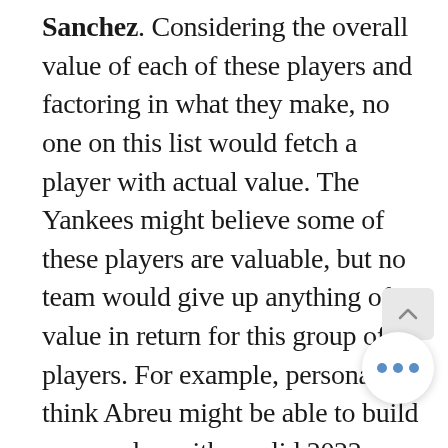Sanchez. Considering the overall value of each of these players and factoring in what they make, no one on this list would fetch a player with actual value. The Yankees might believe some of these players are valuable, but no team would give up anything of value in return for this group of players. For example, personally, I think Abreu might be able to build some value with a solid 2022 season and I think he has the arm to do it. His learning curve has been steep, but he had a few impressive stretches of games and the Yankees didn't exactly give him a chance to be consistent because they had him riding the Scranton Shuttle almost daily. Perhaps hanging on to him is better than moving him for nothing, if you get my